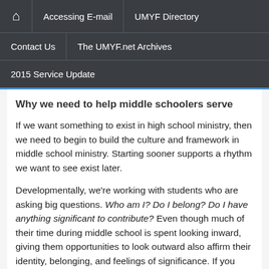🏠 | Accessing E-mail | UMYF Directory | Contact Us | The UMYF.net Archives | 2015 Service Update
Why we need to help middle schoolers serve
If we want something to exist in high school ministry, then we need to begin to build the culture and framework in middle school ministry. Starting sooner supports a rhythm we want to see exist later.
Developmentally, we're working with students who are asking big questions. Who am I? Do I belong? Do I have anything significant to contribute? Even though much of their time during middle school is spent looking inward, giving them opportunities to look outward also affirm their identity, belonging, and feelings of significance. If you want a kid to feel significant, give them something significant to